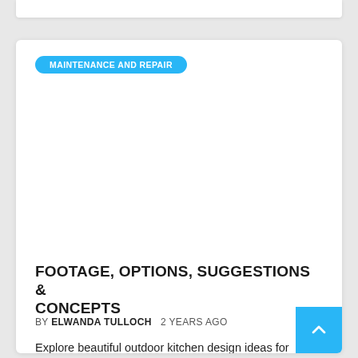MAINTENANCE AND REPAIR
[Figure (photo): White empty image area for article thumbnail]
FOOTAGE, OPTIONS, SUGGESTIONS & CONCEPTS
BY ELWANDA TULLOCH   2 YEARS AGO
Explore beautiful outdoor kitchen design ideas for inspiration by yourself backyard cooking space. At lower